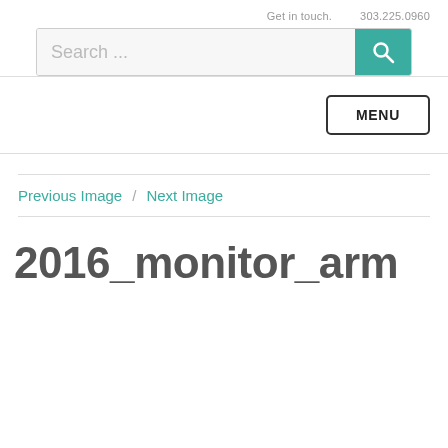Get in touch.   303.225.0960
[Figure (screenshot): Search bar with teal search button and magnifying glass icon]
[Figure (screenshot): MENU button with border, aligned to the right]
Previous Image  /  Next Image
2016_monitor_arm